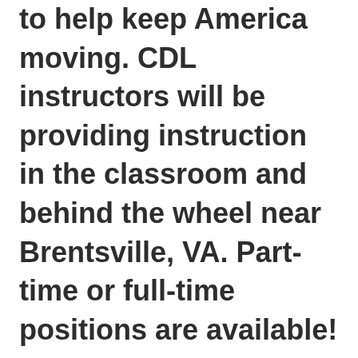to help keep America moving. CDL instructors will be providing instruction in the classroom and behind the wheel near Brentsville, VA. Part-time or full-time positions are available!
Tired of driving on the road and want to take a break. This is a local CDL instructor position at Shippers Choice CDL training school. Instead of driving...